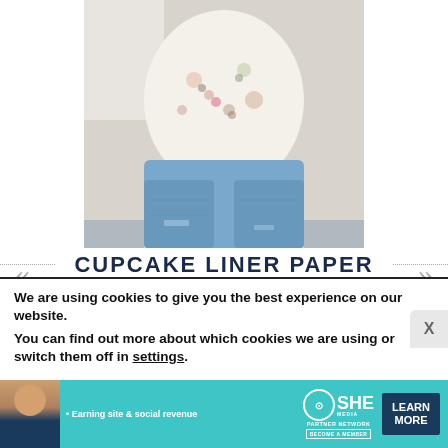[Figure (photo): Woman wearing a white floral top and light blue distressed jeans, partial body view showing torso and legs]
CUPCAKE LINER PAPER FLOWERS
We are using cookies to give you the best experience on our website.
You can find out more about which cookies we are using or switch them off in settings.
[Figure (infographic): SHE Media Partner Network advertisement banner with woman photo, text 'Earning site & social revenue', SHE logo, and LEARN MORE button]